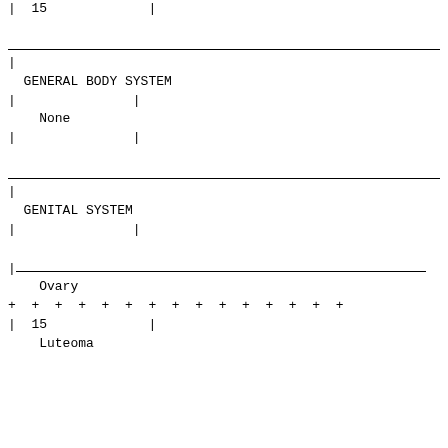| | 15           | |
|  |
|  |
| |  |
|   GENERAL BODY SYSTEM                                       | |
| |               | |
|     None                                                    | |
| |               | |
|  |
|  |
| |  |
|   GENITAL SYSTEM                                            | |
| |               | |
|  |
| |_______________ |
|     Ovary                                                   | |
| + + + + + + + + + + + + + + + |
| | 15            | |
|     Luteoma                                                 | |